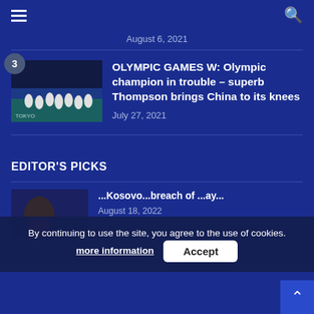Navigation header with hamburger menu and search icon
August 6, 2021
[Figure (photo): Basketball team photo, players in white uniforms at Tokyo Olympics]
OLYMPIC GAMES W: Olympic champion in trouble – superb Thompson brings China to its knees
July 27, 2021
EDITOR'S PICKS
By continuing to use the site, you agree to the use of cookies. more information Accept
[Figure (photo): Partially visible photo of a person in red shirt, coach or athlete]
...Kosovo...breach of ...ay...
August 18, 2022